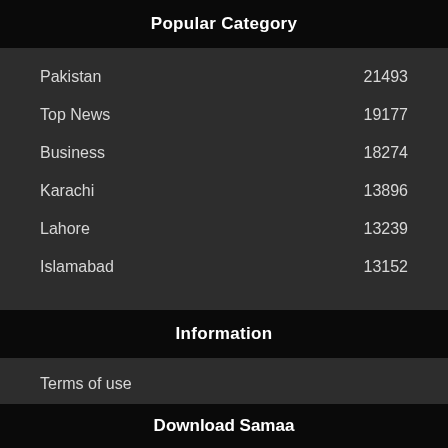Popular Category
Pakistan 21493
Top News 19177
Business 18274
Karachi 13896
Lahore 13239
Islamabad 13152
Information
Terms of use
Contact Us
Download Samaa